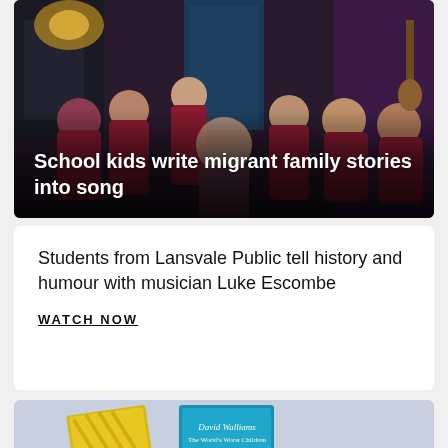[Figure (photo): Group of school children in dark red/maroon uniforms in a music studio setting, laughing and having fun. Overlaid text: 'School kids write migrant family stories into song']
School kids write migrant family stories into song
Students from Lansvale Public tell history and humour with musician Luke Escombe
WATCH NOW
[Figure (illustration): Partial view of a light blue/lavender card featuring book illustrations including what appears to be David Walliams books]